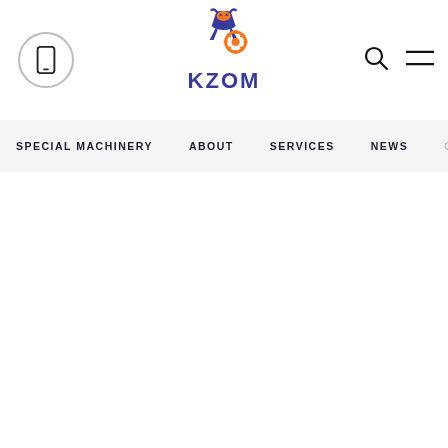KZDM — Special Machinery website header with logo, phone icon, search icon, and menu icon
[Figure (logo): KZDM company logo: stylized figure/machinery graphic in blue and orange above the bold blue text KZDM]
SPECIAL MACHINERY   ABOUT   SERVICES   NEWS   CONTACTS